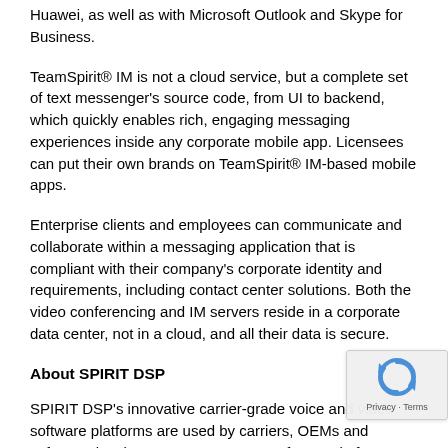Huawei, as well as with Microsoft Outlook and Skype for Business.
TeamSpirit® IM is not a cloud service, but a complete set of text messenger's source code, from UI to backend, which quickly enables rich, engaging messaging experiences inside any corporate mobile app. Licensees can put their own brands on TeamSpirit® IM-based mobile apps.
Enterprise clients and employees can communicate and collaborate within a messaging application that is compliant with their company's corporate identity and requirements, including contact center solutions. Both the video conferencing and IM servers reside in a corporate data center, not in a cloud, and all their data is secure.
About SPIRIT DSP
SPIRIT DSP's innovative carrier-grade voice and video software platforms are used by carriers, OEMs and software developers. SPIRIT DSP's software platforms serve more than 1 billion p... in over 100 countries. SPIRIT DSP's software is licensed to/powers popular products from the global technology leade... including Apple, Adobe, ARM, AT&T, Avaya, Blizzard, BroadSoft,